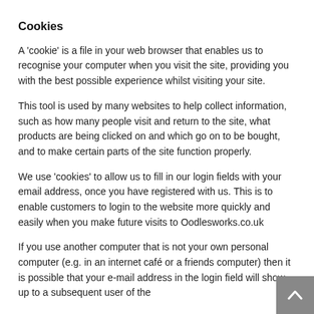Cookies
A 'cookie' is a file in your web browser that enables us to recognise your computer when you visit the site, providing you with the best possible experience whilst visiting your site.
This tool is used by many websites to help collect information, such as how many people visit and return to the site, what products are being clicked on and which go on to be bought, and to make certain parts of the site function properly.
We use 'cookies' to allow us to fill in our login fields with your email address, once you have registered with us. This is to enable customers to login to the website more quickly and easily when you make future visits to Oodlesworks.co.uk
If you use another computer that is not your own personal computer (e.g. in an internet café or a friends computer) then it is possible that your e-mail address in the login field will show up to a subsequent user of the